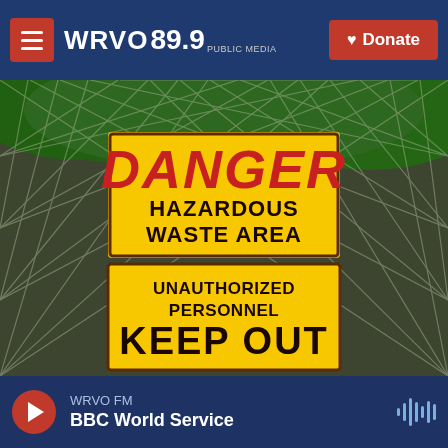WRVO 89.9 PUBLIC MEDIA — Donate
[Figure (photo): Yellow DANGER HAZARDOUS WASTE AREA — UNAUTHORIZED PERSONNEL KEEP OUT sign mounted on a chain-link fence with green foliage in the background]
WRVO FM — BBC World Service